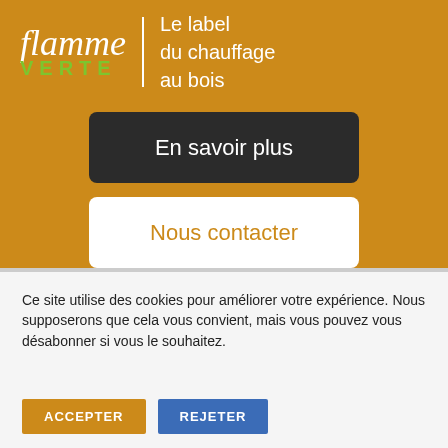[Figure (logo): Flamme Verte logo — cursive 'flamme' in white above green bold 'VERTE' in capitals, with a vertical white divider line and text 'Le label du chauffage au bois' in white on golden/amber background]
En savoir plus
Nous contacter
Ce site utilise des cookies pour améliorer votre expérience. Nous supposerons que cela vous convient, mais vous pouvez vous désabonner si vous le souhaitez.
ACCEPTER
REJETER